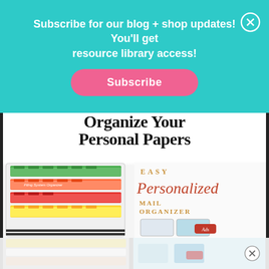Subscribe for our blog + shop updates! You'll get resource library access!
Subscribe
Organize Your Personal Papers
[Figure (photo): Colorful hanging file folders in a drawer organized by color: green, orange/red, red, and yellow]
[Figure (photo): Easy Personalized Mail Organizer – decorative text with envelope photo below and Ads label]
[Figure (photo): Bottom reflection/continuation of organizing photos]